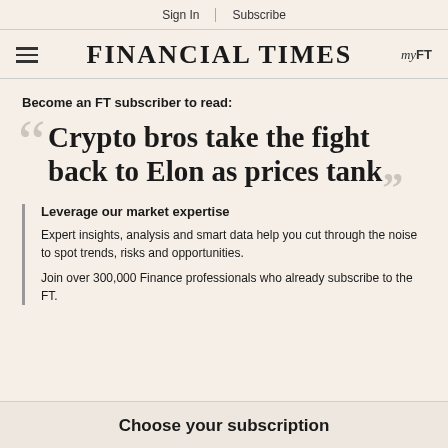Sign In | Subscribe
FINANCIAL TIMES  myFT
Become an FT subscriber to read:
Crypto bros take the fight back to Elon as prices tank
Leverage our market expertise
Expert insights, analysis and smart data help you cut through the noise to spot trends, risks and opportunities.
Join over 300,000 Finance professionals who already subscribe to the FT.
Choose your subscription